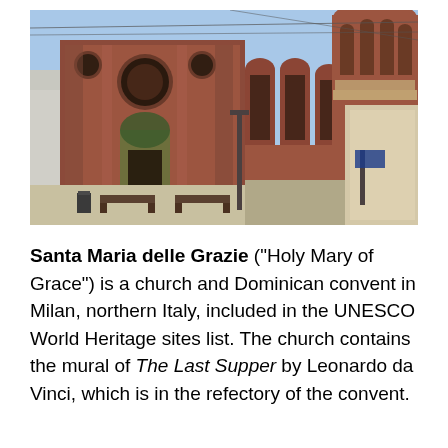[Figure (photo): Exterior photograph of Santa Maria delle Grazie church in Milan, a large Renaissance brick church with arched windows and a prominent drum dome visible on the right side, photographed on a clear sunny day from the piazza in front.]
Santa Maria delle Grazie ("Holy Mary of Grace") is a church and Dominican convent in Milan, northern Italy, included in the UNESCO World Heritage sites list. The church contains the mural of The Last Supper by Leonardo da Vinci, which is in the refectory of the convent.